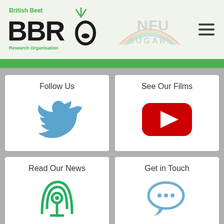[Figure (logo): BBRO British Beet Research Organisation logo with green beet icon]
[Figure (logo): NFU Sugar logo (faded/watermark)]
[Figure (illustration): Hamburger menu icon (three horizontal lines)]
Follow Us
[Figure (illustration): Twitter bird icon in blue]
See Our Films
[Figure (illustration): YouTube play button icon in red]
Read Our News
[Figure (illustration): Podcast/broadcast icon in green]
Get in Touch
[Figure (illustration): Chat/speech bubble icon in blue]